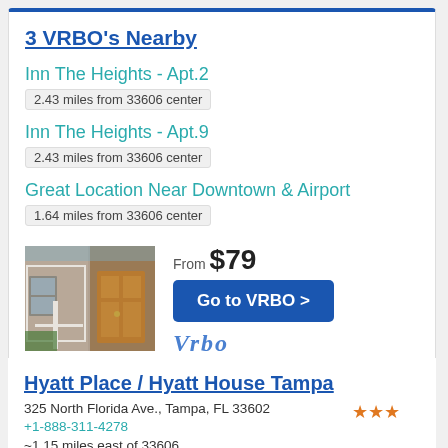3 VRBO's Nearby
Inn The Heights - Apt.2
2.43 miles from 33606 center
Inn The Heights - Apt.9
2.43 miles from 33606 center
Great Location Near Downtown & Airport
1.64 miles from 33606 center
[Figure (photo): Photo of a house entrance/door]
From $79
Go to VRBO >
Vrbo
Hyatt Place / Hyatt House Tampa
325 North Florida Ave., Tampa, FL 33602
+1-888-311-4278
~1.15 miles east of 33606